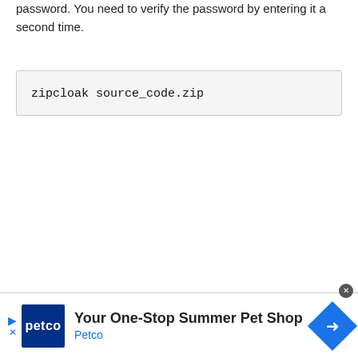password. You need to verify the password by entering it a second time.
zipcloak source_code.zip
[Figure (screenshot): Advertisement banner for Petco: 'Your One-Stop Summer Pet Shop' with Petco logo and navigation arrow icon]